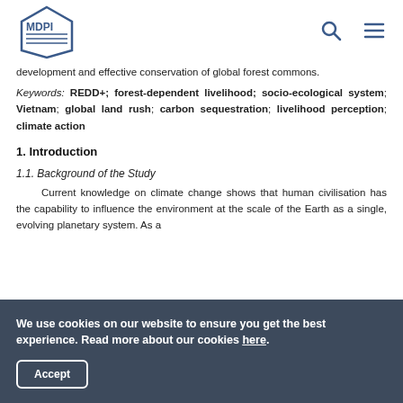MDPI
development and effective conservation of global forest commons.
Keywords: REDD+; forest-dependent livelihood; socio-ecological system; Vietnam; global land rush; carbon sequestration; livelihood perception; climate action
1. Introduction
1.1. Background of the Study
Current knowledge on climate change shows that human civilisation has the capability to influence the environment at the scale of the Earth as a single, evolving planetary system. As a
We use cookies on our website to ensure you get the best experience. Read more about our cookies here. Accept